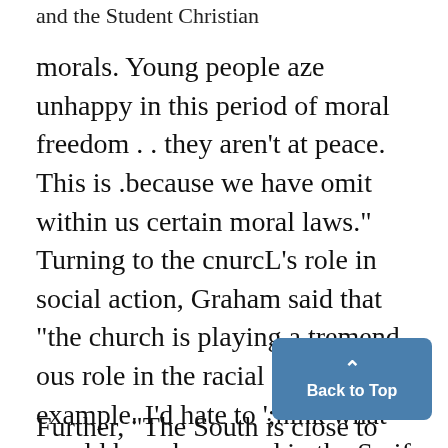and the Student Christian
morals. Young people aze unhappy in this period of moral freedom . . they aren't at peace. This is .because we have omit within us certain moral laws." Turning to the cnurcL's role in social action, Graham said that "the church is playing a tremend-ous role in the racial struggle, for example. I'd hate to ';hink what would have happened in the So if it were not for the church."
Further, "The South is close to